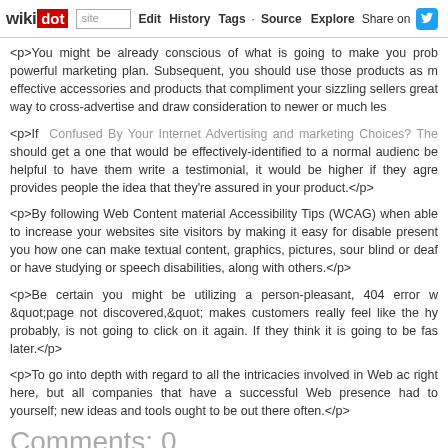wikidot | site | Edit | History | Tags | Source | Explore | Share on
<p>You might be already conscious of what is going to make you prob powerful marketing plan. Subsequent, you should use those products as m effective accessories and products that compliment your sizzling sellers great way to cross-advertise and draw consideration to newer or much les
<p>If Confused By Your Internet Advertising and marketing Choices? The should get a one that would be effectively-identified to a normal audienc be helpful to have them write a testimonial, it would be higher if they agre provides people the idea that they're assured in your product.</p>
<p>By following Web Content material Accessibility Tips (WCAG) when able to increase your websites site visitors by making it easy for disable present you how one can make textual content, graphics, pictures, sour blind or deaf or have studying or speech disabilities, along with others.</p>
<p>Be certain you might be utilizing a person-pleasant, 404 error w &quot;page not discovered,&quot; makes customers really feel like the hy probably, is not going to click on it again. If they think it is going to be fas later.</p>
<p>To go into depth with regard to all the intricacies involved in Web ac right here, but all companies that have a successful Web presence had to yourself; new ideas and tools ought to be out there often.</p>
Comments: 0
Add a New Comment